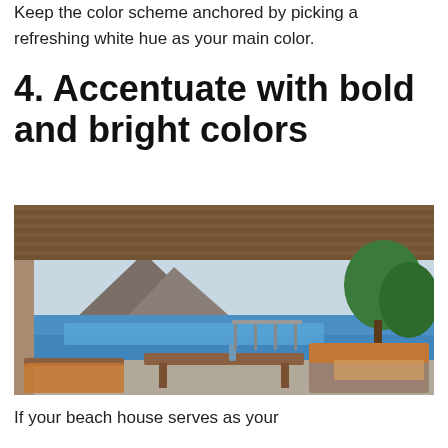Keep the color scheme anchored by picking a refreshing white hue as your main color.
4. Accentuate with bold and bright colors
[Figure (photo): Interior of a beach house patio or lanai with wood-slat ceiling, looking out over a pool and ocean toward a volcanic mountain (Diamond Head), with tropical trees to the right and teak/wood lounge chairs with orange cushions in the foreground.]
If your beach house serves as your